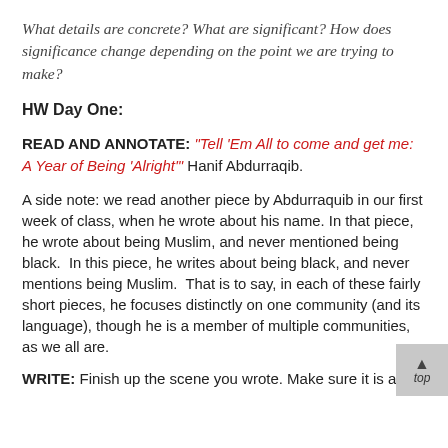What details are concrete? What are significant? How does significance change depending on the point we are trying to make?
HW Day One:
READ AND ANNOTATE: “Tell ‘Em All to come and get me: A Year of Being ‘Alright’” Hanif Abdurraqib.
A side note: we read another piece by Abdurraquib in our first week of class, when he wrote about his name. In that piece, he wrote about being Muslim, and never mentioned being black.  In this piece, he writes about being black, and never mentions being Muslim.  That is to say, in each of these fairly short pieces, he focuses distinctly on one community (and its language), though he is a member of multiple communities, as we all are.
WRITE: Finish up the scene you wrote. Make sure it is at